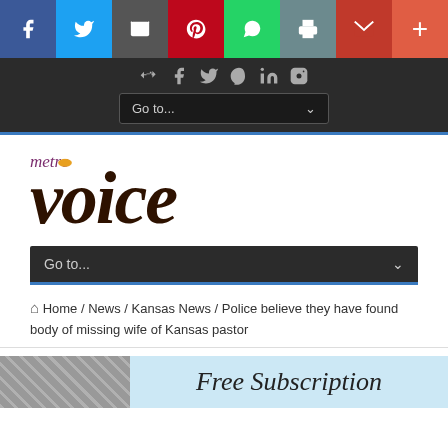[Figure (screenshot): Social media share bar with Facebook, Twitter, Email, Pinterest, WhatsApp, Print, Gmail, and More buttons]
Go to...
[Figure (logo): Metro Voice newspaper logo with 'metro' in italic purple/magenta and 'voice' in large dark brown italic serif font, with an orange oval accent on the 'o' in metro]
Go to...
Home / News / Kansas News / Police believe they have found body of missing wife of Kansas pastor
[Figure (screenshot): Bottom strip with a photo thumbnail on the left and 'Free Subscription' text on a light blue background on the right]